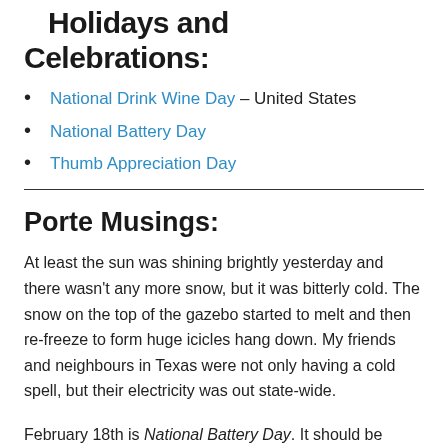Holidays and Celebrations:
National Drink Wine Day – United States
National Battery Day
Thumb Appreciation Day
Porte Musings:
At least the sun was shining brightly yesterday and there wasn't any more snow, but it was bitterly cold. The snow on the top of the gazebo started to melt and then re-freeze to form huge icicles hang down. My friends and neighbours in Texas were not only having a cold spell, but their electricity was out state-wide.
February 18th is National Battery Day. It should be called "National Recycle your batteries day" as the day was meant to remind everyone to keep batteries out of landfill sites